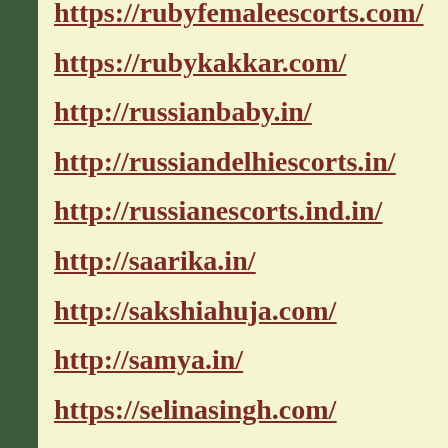https://rubyfemaleescorts.com/
https://rubykakkar.com/
http://russianbaby.in/
http://russiandelhiescorts.in/
http://russianescorts.ind.in/
http://saarika.in/
http://sakshiahuja.com/
http://samya.in/
https://selinasingh.com/